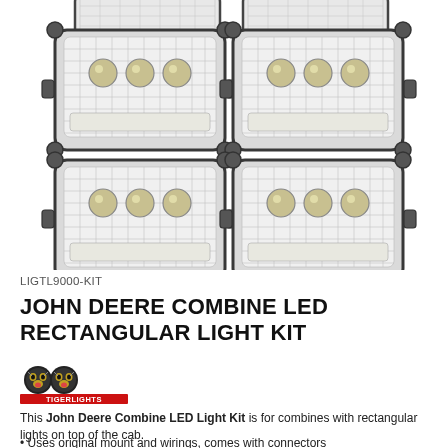[Figure (photo): Four rectangular John Deere combine LED lights arranged in a 2x2 grid on white background, each with clear lens housing, mounting tabs, and visible LED elements inside]
LIGTL9000-KIT
JOHN DEERE COMBINE LED RECTANGULAR LIGHT KIT
[Figure (logo): Tiger Lights logo with two tiger face icons and red TIGERLIGHTS text]
This John Deere Combine LED Light Kit is for combines with rectangular lights on top of the cab.
• Uses original mount and wirings, comes with connectors